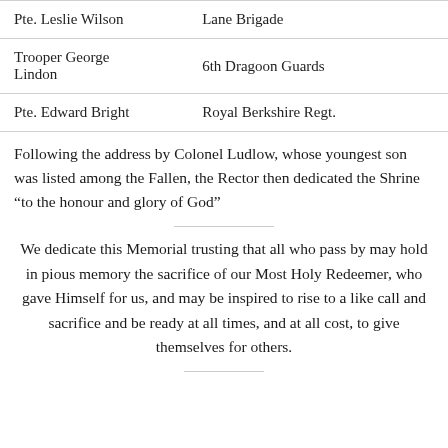| Name | Unit |
| --- | --- |
| Pte. Leslie Wilson | Lane Brigade |
| Trooper George Lindon | 6th Dragoon Guards |
| Pte. Edward Bright | Royal Berkshire Regt. |
Following the address by Colonel Ludlow, whose youngest son was listed among the Fallen, the Rector then dedicated the Shrine “to the honour and glory of God”
We dedicate this Memorial trusting that all who pass by may hold in pious memory the sacrifice of our Most Holy Redeemer, who gave Himself for us, and may be inspired to rise to a like call and sacrifice and be ready at all times, and at all cost, to give themselves for others.